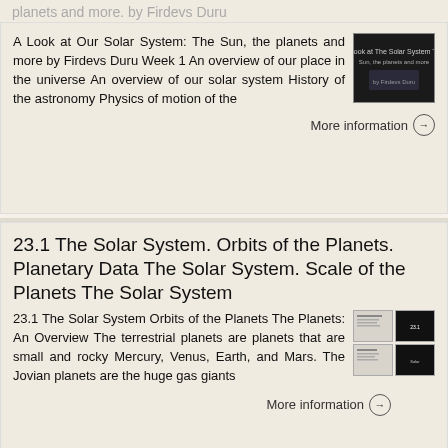planets and more. by Firdevs Duru
A Look at Our Solar System: The Sun, the planets and more by Firdevs Duru Week 1 An overview of our place in the universe An overview of our solar system History of the astronomy Physics of motion of the
[Figure (photo): Dark thumbnail image of solar system book cover]
More information →
23.1 The Solar System. Orbits of the Planets. Planetary Data The Solar System. Scale of the Planets The Solar System
23.1 The Solar System Orbits of the Planets The Planets: An Overview The terrestrial planets are planets that are small and rocky Mercury, Venus, Earth, and Mars. The Jovian planets are the huge gas giants
[Figure (screenshot): Thumbnail grid showing document pages with text and dark slides]
More information →